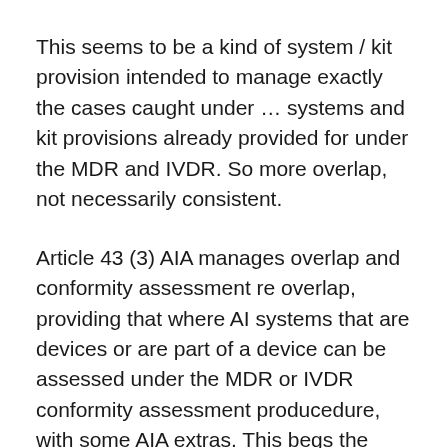This seems to be a kind of system / kit provision intended to manage exactly the cases caught under … systems and kit provisions already provided for under the MDR and IVDR. So more overlap, not necessarily consistent.
Article 43 (3) AIA manages overlap and conformity assessment re overlap, providing that where AI systems that are devices or are part of a device can be assessed under the MDR or IVDR conformity assessment producedure, with some AIA extras. This begs the question how will that work with notified bodies? Do they need accreditation under the AIA as well to do a full MDR or IVDR AI system / device assessment? Under what MDR / IVDR code would that notified body competence be covered? Would it be possible to split the device / AI system by having the AI part evaluated by an AIA notified